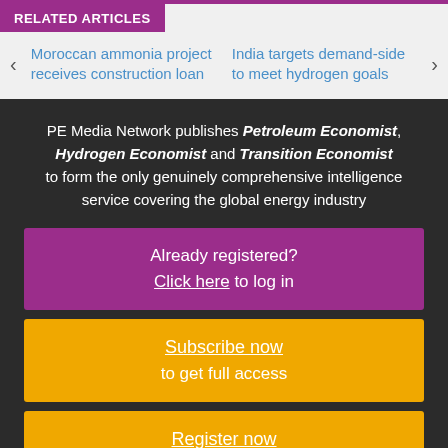RELATED ARTICLES
Moroccan ammonia project receives construction loan
India targets demand-side to meet hydrogen goals
PE Media Network publishes Petroleum Economist, Hydrogen Economist and Transition Economist to form the only genuinely comprehensive intelligence service covering the global energy industry
Already registered? Click here to log in
Subscribe now to get full access
Register now for a free trial
A question?